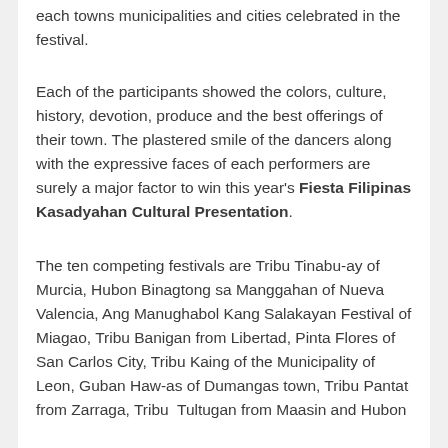each towns municipalities and cities celebrated in the festival.
Each of the participants showed the colors, culture, history, devotion, produce and the best offerings of their town. The plastered smile of the dancers along with the expressive faces of each performers are surely a major factor to win this year's Fiesta Filipinas Kasadyahan Cultural Presentation.
The ten competing festivals are Tribu Tinabu-ay of Murcia, Hubon Binagtong sa Manggahan of Nueva Valencia, Ang Manughabol Kang Salakayan Festival of Miagao, Tribu Banigan from Libertad, Pinta Flores of San Carlos City, Tribu Kaing of the Municipality of Leon, Guban Haw-as of Dumangas town, Tribu Pantat from Zarraga, Tribu  Tultugan from Maasin and Hubon